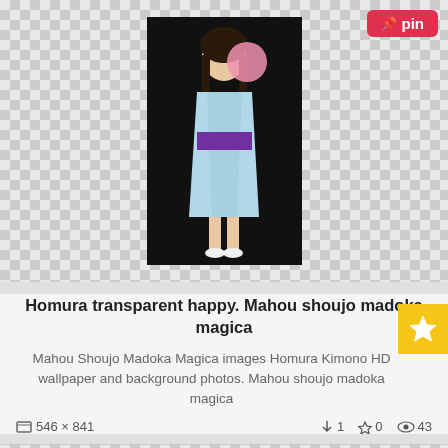[Figure (illustration): Anime character in kimono holding pink cotton candy, black background, checkerboard transparent background pattern]
Homura transparent happy. Mahou shoujo madoka magica
Mahou Shoujo Madoka Magica images Homura Kimono HD wallpaper and background photos. Mahou shoujo madoka magica
546 x 841  ↓1  ☆0  👁43
[Figure (illustration): Anime character in sports outfit with red headband, kicking pose, black background]
Homura transparent happy. Sport by shootingstarlitskies